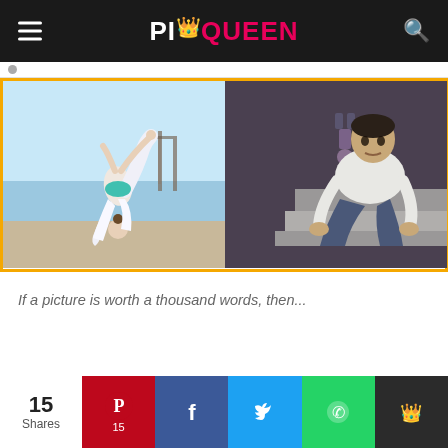PICQUEEN
[Figure (photo): Two-panel image with orange border: left panel shows a woman in white yoga outfit performing a complex balancing pose on a beach with a pier in background; right panel shows a man sitting on stairs indoors, with a smaller inverted figure visible behind him.]
If a picture is worth a thousand words, then...
15 Shares